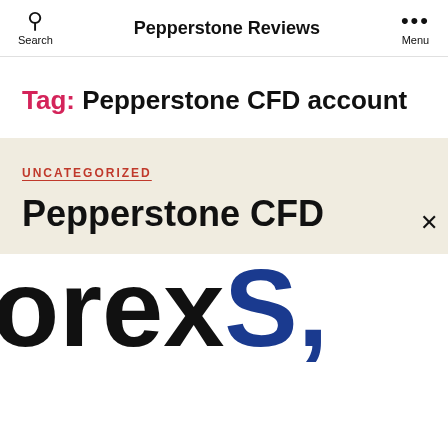Pepperstone Reviews
Tag: Pepperstone CFD account
UNCATEGORIZED
Pepperstone CFD
[Figure (logo): Partial logo text reading 'orexSG' in large bold font, black and blue colors, cropped at edges]